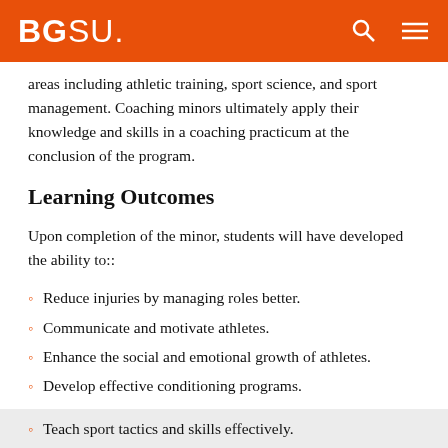BGSU.
areas including athletic training, sport science, and sport management. Coaching minors ultimately apply their knowledge and skills in a coaching practicum at the conclusion of the program.
Learning Outcomes
Upon completion of the minor, students will have developed the ability to::
Reduce injuries by managing roles better.
Communicate and motivate athletes.
Enhance the social and emotional growth of athletes.
Develop effective conditioning programs.
Teach sport tactics and skills effectively.